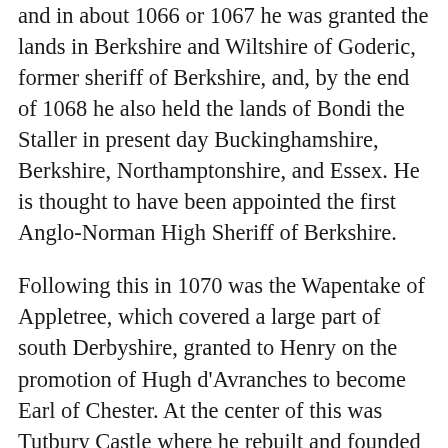and in about 1066 or 1067 he was granted the lands in Berkshire and Wiltshire of Goderic, former sheriff of Berkshire, and, by the end of 1068 he also held the lands of Bondi the Staller in present day Buckinghamshire, Berkshire, Northamptonshire, and Essex. He is thought to have been appointed the first Anglo-Norman High Sheriff of Berkshire.
Following this in 1070 was the Wapentake of Appletree, which covered a large part of south Derbyshire, granted to Henry on the promotion of Hugh d'Avranches to become Earl of Chester. At the center of this was Tutbury Castle where he rebuilt and founded the priory in 1080.
His major land holdings, however, were those of the Anglo-Saxon Siward Barn, following a revolt in 1071, including more land in Berkshire and Essex and also Gloucestershire, Warwickshire, Nottinghamshire and Derbyshire.
These included part of the wapentakes of Litchurch and Morleyston, which contained an area later to be known as Duffield Frith. To command an important crossing over the Derwent he built Duffield Castle. In the wapentake of Hamston was the west bank of